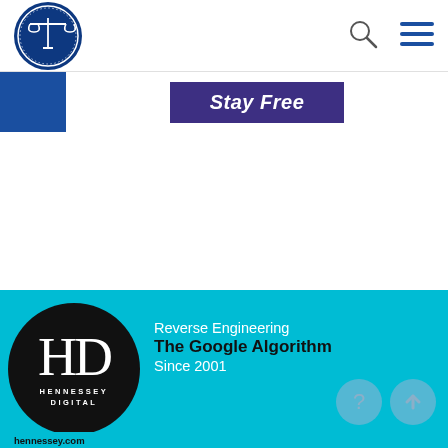[Figure (logo): National Association of Criminal Defense Lawyers circular badge logo with blue background and scales of justice icon]
[Figure (logo): Search icon (magnifying glass)]
[Figure (logo): Hamburger menu icon (three horizontal lines)]
Stay Free
[Figure (logo): Hennessey Digital advertisement: HD logo in black circle with text 'Reverse Engineering The Google Algorithm Since 2001' on cyan background with hennessey.com]